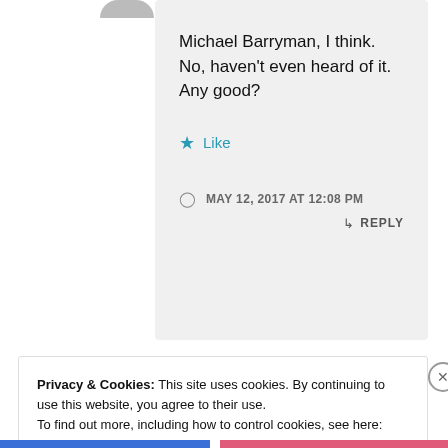Michael Barryman, I think. No, haven't even heard of it. Any good?
★ Like
MAY 12, 2017 AT 12:08 PM
↳ REPLY
Privacy & Cookies: This site uses cookies. By continuing to use this website, you agree to their use.
To find out more, including how to control cookies, see here: Cookie Policy
Close and accept